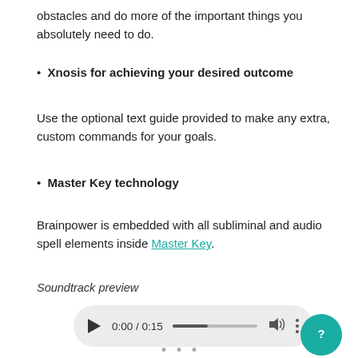obstacles and do more of the important things you absolutely need to do.
Xnosis for achieving your desired outcome
Use the optional text guide provided to make any extra, custom commands for your goals.
Master Key technology
Brainpower is embedded with all subliminal and audio spell elements inside Master Key.
Soundtrack preview
[Figure (other): Audio player widget showing 0:00 / 0:15 with play button, progress bar, volume icon, and menu dots]
[Figure (other): Teal circular chat/help button with question mark icon]
• • •